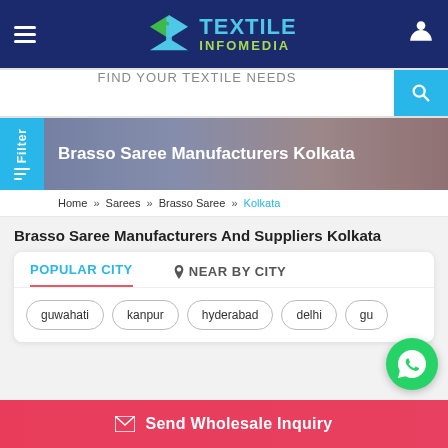[Figure (logo): Textile Infomedia logo with navigation header on dark blue background]
FIND YOUR TEXTILE NEEDS
[Figure (photo): Banner background with people wearing textiles/sarees]
Brasso Saree Manufacturers Kolkata
Home » Sarees » Brasso Saree » Kolkata
Brasso Saree Manufacturers And Suppliers Kolkata
POPULAR CITY | NEAR BY CITY
guwahati
kanpur
hyderabad
delhi
gu...
Send Wholesale Inquiry